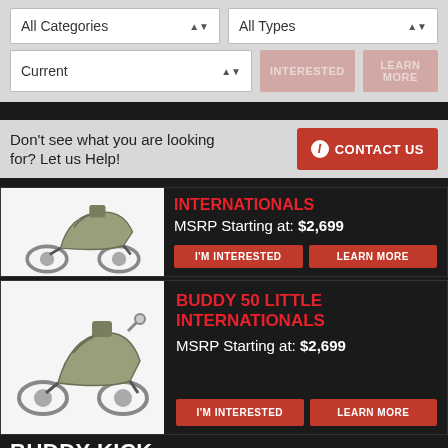[Figure (screenshot): Filter dropdowns: All Categories, All Types, Current]
Don't see what you are looking for? Let us Help!
CONTACT US
[Figure (photo): Scooter product card (partial top) with faded INTERESTED and LEARN MORE buttons, MSRP Starting at price]
[Figure (photo): Scooter product card: BUDDY 50 LITTLE INTERNATIONALS, MSRP Starting at: $2,699]
BUDDY 50 LITTLE INTERNATIONALS
MSRP Starting at: $2,699
BUDDY KICK
[Figure (photo): Scooter product card partial: BUDDY KICK, MSRP Starting at: $2,499]